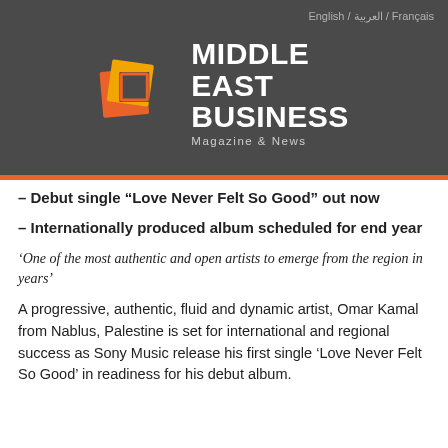English / العربية / Français
[Figure (logo): Middle East Business Magazine & News logo with orange/red interlocking squares icon and white text]
– Debut single “Love Never Felt So Good” out now
– Internationally produced album scheduled for end year
‘One of the most authentic and open artists to emerge from the region in years’
A progressive, authentic, fluid and dynamic artist, Omar Kamal from Nablus, Palestine is set for international and regional success as Sony Music release his first single ‘Love Never Felt So Good’ in readiness for his debut album.